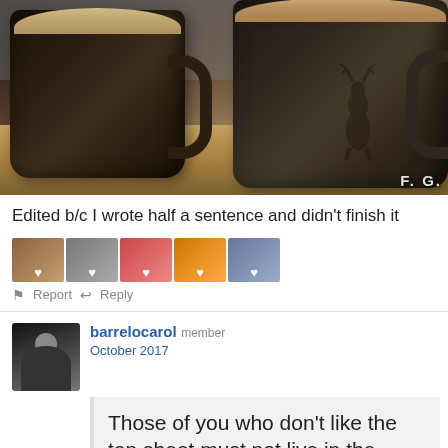[Figure (photo): Two dark ceramic coffee mugs on a wooden surface, one with a deer silhouette design, with a blurred winter background. Watermark 'F. G.' in bottom right corner.]
Edited b/c I wrote half a sentence and didn't finish it
[Figure (other): Row of five small thumbnail images with heart icons overlay, representing likes from users]
Report   Reply
barrelocarol member
October 2017
Those of you who don't like the top sheet must not live in the south